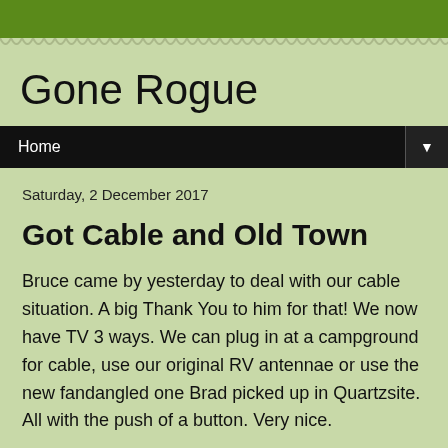Gone Rogue
Saturday, 2 December 2017
Got Cable and Old Town
Bruce came by yesterday to deal with our cable situation. A big Thank You to him for that! We now have TV 3 ways. We can plug in at a campground for cable, use our original RV antennae or use the new fandangled one Brad picked up in Quartzsite. All with the push of a button. Very nice.